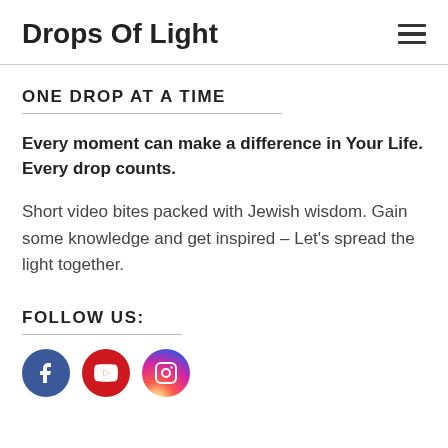Drops Of Light
ONE DROP AT A TIME
Every moment can make a difference in Your Life. Every drop counts.
Short video bites packed with Jewish wisdom. Gain some knowledge and get inspired – Let's spread the light together.
FOLLOW US:
[Figure (other): Social media icons: Facebook (blue circle), YouTube (red circle), Instagram (gradient circle)]